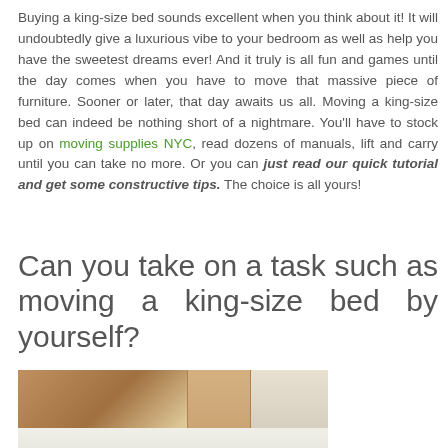Buying a king-size bed sounds excellent when you think about it! It will undoubtedly give a luxurious vibe to your bedroom as well as help you have the sweetest dreams ever! And it truly is all fun and games until the day comes when you have to move that massive piece of furniture. Sooner or later, that day awaits us all. Moving a king-size bed can indeed be nothing short of a nightmare. You'll have to stock up on moving supplies NYC, read dozens of manuals, lift and carry until you can take no more. Or you can just read our quick tutorial and get some constructive tips. The choice is all yours!
Can you take on a task such as moving a king-size bed by yourself?
[Figure (photo): Photo of a bedroom interior showing a bed with white sheets, a wooden headboard/wardrobe area, and a mirror or glass panel on the right side.]